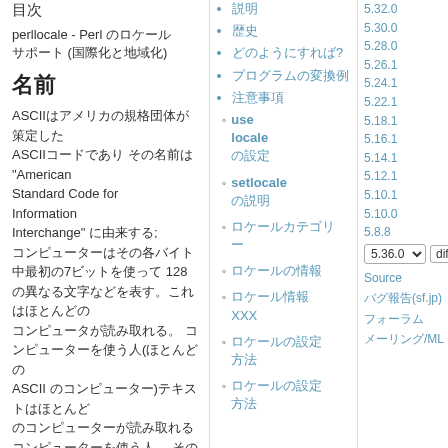目次
perllocale - Perl のロケール サポート (国際化と地域化)
名前
ASCIIはアメリカの規格団体が策定したコードであり、その名前は "American Standard Code for Information Interchange" に由来する; コンピューターはその各バイト中最初の7ビットを使って 128の異なる文字などを表す。(ほとんどの ASCII 文字を示す)テキストはほとんどのコンピューターが読み取れる; 一部のシステムは異なったものを使う;そのような違いが起こるのは
説明
歴史
どのようにすれば?
プログラムの変換例
注意事項
use locale の設定
setlocale の説明
ロケールカテゴリー
ロケールの情報
ロケール情報 XXX
ロケールの設定方法
ロケールの設定方法
5.32.0
5.30.0
5.28.0
5.26.1
5.24.1
5.22.1
5.18.1
5.16.1
5.14.1
5.12.1
5.10.1
5.10.0
5.8.8
5.36.0
diff
Source
バグ報告(sf.jp)
フォーラム
メーリング/ML